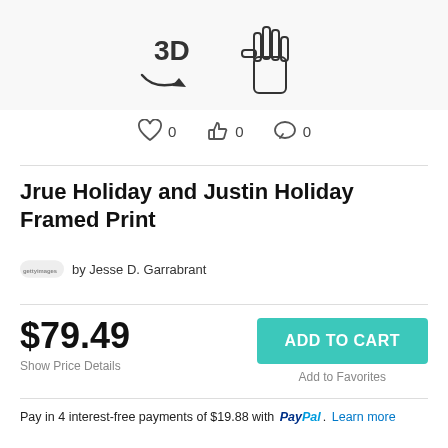[Figure (screenshot): Top partial view of a 3D rotate and hand icons for a product image viewer]
[Figure (infographic): Row of three icons: heart (0), thumbs up (0), comment bubble (0)]
Jrue Holiday and Justin Holiday Framed Print
by Jesse D. Garrabrant
$79.49
Show Price Details
ADD TO CART
Add to Favorites
Pay in 4 interest-free payments of $19.88 with PayPal. Learn more